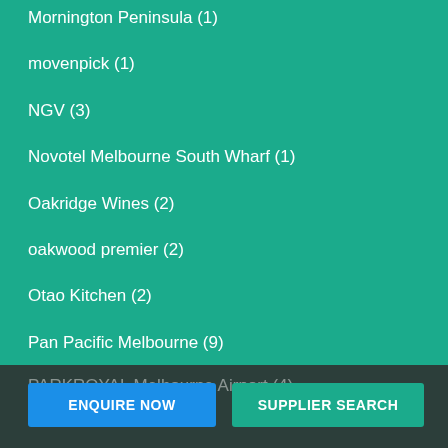Mornington Peninsula (1)
movenpick (1)
NGV (3)
Novotel Melbourne South Wharf (1)
Oakridge Wines (2)
oakwood premier (2)
Otao Kitchen (2)
Pan Pacific Melbourne (9)
PARKROYAL Melbourne Airport (4)
ENQUIRE NOW
SUPPLIER SEARCH